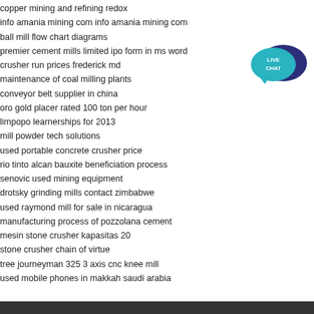copper mining and refining redox
info amania mining com info amania mining com
ball mill flow chart diagrams
premier cement mills limited ipo form in ms word
crusher run prices frederick md
maintenance of coal milling plants
conveyor belt supplier in china
oro gold placer rated 100 ton per hour
limpopo learnerships for 2013
mill powder tech solutions
used portable concrete crusher price
rio tinto alcan bauxite beneficiation process
senovic used mining equipment
drotsky grinding mills contact zimbabwe
used raymond mill for sale in nicaragua
manufacturing process of pozzolana cement
mesin stone crusher kapasitas 20
stone crusher chain of virtue
tree journeyman 325 3 axis cnc knee mill
used mobile phones in makkah saudi arabia
[Figure (illustration): Live chat speech bubble icon with teal/dark blue colors and text LIVE CHAT]